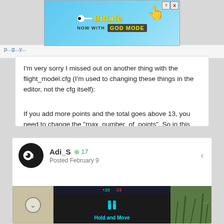[Figure (screenshot): BitLife advertisement banner with 'NOW WITH GOD MODE' text]
I'm very sorry I missed out on another thing with the flight_model.cfg (I'm used to changing these things in the editor, not the cfg itself):
If you add more points and the total goes above 13, you need to change the "max_number_of_points". So in this case, 16 should work. I had someone E-mail me about the pushback, and this is what I was missing out on.
Adi_S  +17
Posted February 9
[Figure (screenshot): Bottom portion showing a user post by Adi_S with avatar and image strip including Hold and Move advertisement]